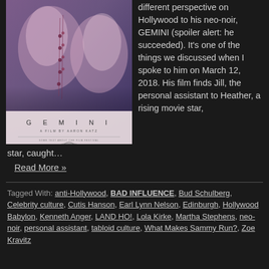[Figure (photo): Movie poster for GEMINI - A Film by Aaron Katz, showing two women's faces against a purple/blue background with floral elements]
different perspective on Hollywood to his neo-noir, GEMINI (spoiler alert: he succeeded). It's one of the things we discussed when I spoke to him on March 12, 2018. His film finds Jill, the personal assistant to Heather, a rising movie star, caught…
Read More »
Tagged With: anti-Hollywood, BAD INFLUENCE, Bud Schulberg, Celebrity culture, Cutis Hanson, Earl Lynn Nelson, Edinburgh, Hollywood Babylon, Kenneth Anger, LAND HO!, Lola Kirke, Martha Stephens, neo-noir, personal assistant, tabloid culture, What Makes Sammy Run?, Zoe Kravitz